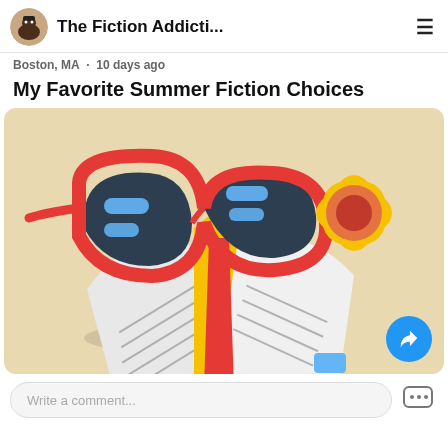The Fiction Addicti...
Boston, MA · 10 days ago
My Favorite Summer Fiction Choices
[Figure (illustration): Illustration of red sunglasses, an open book with yellow bookmark, and a yellow flower on a warm beige background. Share button (blue circle with arrow) in bottom right corner.]
Write a comment...